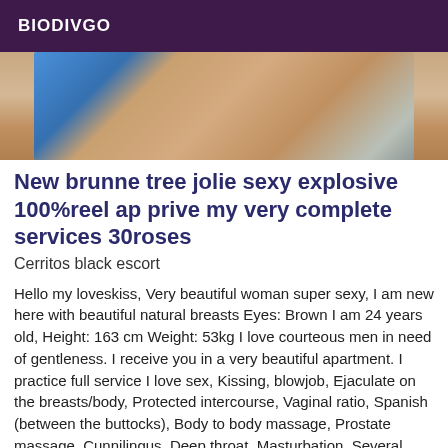BIODIVGO
[Figure (photo): Partial photo of a person wearing a blue top, cropped view]
New brunne tree jolie sexy explosive 100%reel ap prive my very complete services 30roses
Cerritos black escort
Hello my loveskiss, Very beautiful woman super sexy, I am new here with beautiful natural breasts Eyes: Brown I am 24 years old, Height: 163 cm Weight: 53kg I love courteous men in need of gentleness. I receive you in a very beautiful apartment. I practice full service I love sex, Kissing, blowjob, Ejaculate on the breasts/body, Protected intercourse, Vaginal ratio, Spanish (between the buttocks), Body to body massage, Prostate massage, Cunnilingus, Deep throat, Masturbation, Several orgasms, Anilingus on me, high heels, lingerie,